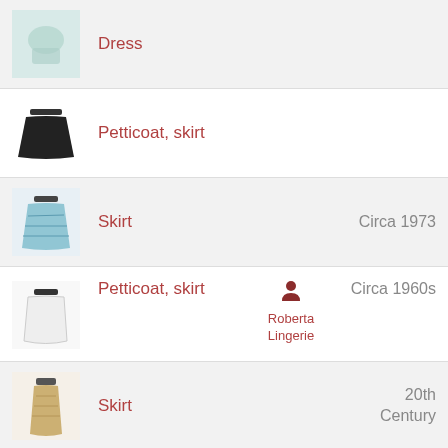Dress
Petticoat, skirt
Skirt
Petticoat, skirt
Skirt
Skirt